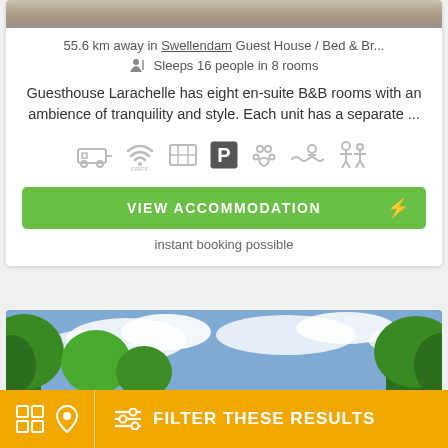[Figure (photo): Partial top image of a property (stone/rock texture background)]
55.6 km away in Swellendam Guest House / Bed & Br...
Sleeps 16 people in 8 rooms
Guesthouse Larachelle has eight en-suite B&B rooms with an ambience of tranquility and style. Each unit has a separate ...
[Figure (infographic): Row of accommodation amenity icons: caravan/RV, free WiFi, pool/facility, free parking (P), pets, swimming/water activity, family/facilities]
[Figure (other): Green VIEW ACCOMMODATION button with lightning bolt icon]
instant booking possible
[Figure (photo): Outdoor garden/landscape photo with green trees and cloudy blue sky]
FILTER THESE RESULTS